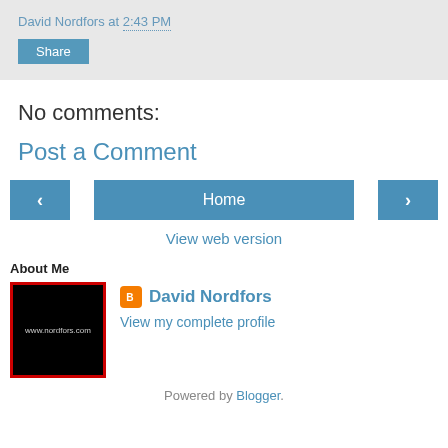David Nordfors at 2:43 PM
Share
No comments:
Post a Comment
‹ Home ›
View web version
About Me
[Figure (photo): Profile image showing www.nordfors.com text on black background with red border]
David Nordfors
View my complete profile
Powered by Blogger.